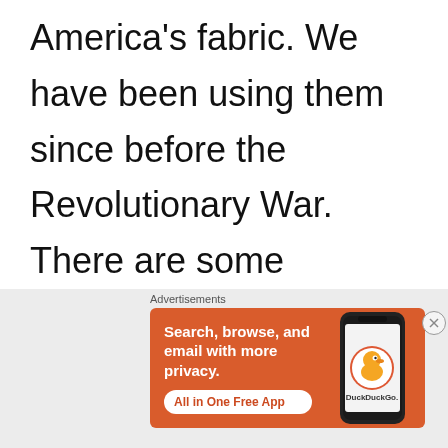America's fabric. We have been using them since before the Revolutionary War. There are some fabulous ones out there. Politics can be so divisive but they are also a bond between us all because they are our
Advertisements
[Figure (infographic): DuckDuckGo advertisement banner with orange background. Text reads: Search, browse, and email with more privacy. All in One Free App. Shows a smartphone with DuckDuckGo logo.]